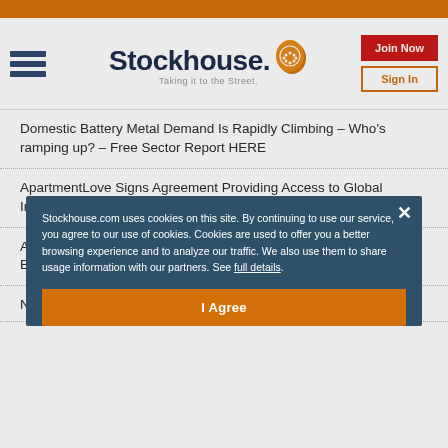[Figure (logo): Stockhouse logo with hamburger menu, tagline 'Taking it to the Street.', Join Now and Sign In buttons]
Domestic Battery Metal Demand Is Rapidly Climbing – Who's ramping up? – Free Sector Report HERE
ApartmentLove Signs Agreement Providing Access to Global Inventory of 120K Short-Term Vacation Rentals
A Junior Gold Opportunity Exploring Quebec's Most Prolific Gold Belts
NEW: Thunder Bay North Project Assays 13m Grading...
Stockhouse.com uses cookies on this site. By continuing to use our service, you agree to our use of cookies. Cookies are used to offer you a better browsing experience and to analyze our traffic. We also use them to share usage information with our partners. See full details.
I Agree